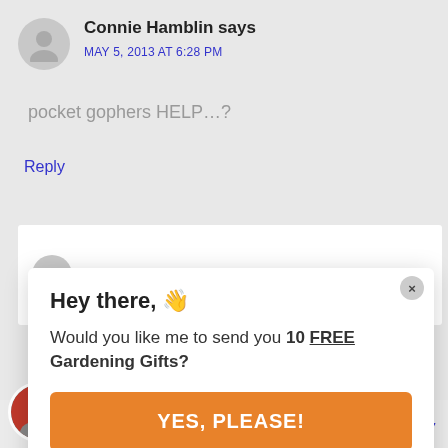Connie Hamblin says
MAY 5, 2013 AT 6:28 PM
pocket gophers HELP…?
Reply
Hey there, 👋
Would you like me to send you 10 FREE Gardening Gifts?
YES, PLEASE!
grubs-in-your-lawn/